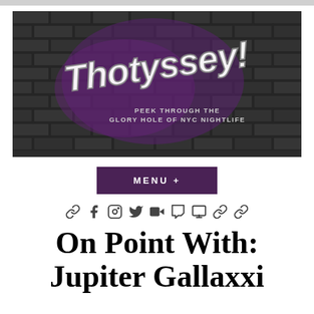[Figure (logo): Thotyssey! banner logo on dark brick wall background with graffiti-style text and tagline 'PEEK THROUGH THE GLORY HOLE OF NYC NIGHTLIFE']
MENU +
🔗 f 📷 🐦 ▶ t 🎮 🔗 🔗
On Point With: Jupiter Gallaxxi